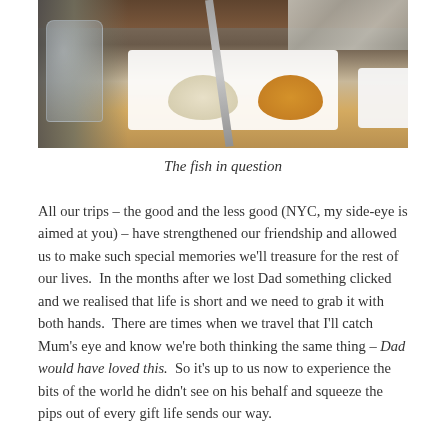[Figure (photo): Photo of a wooden serving board with a white plate containing two mounds of food (one pale/white, one golden/orange), a fork and knife, a glass on the left, and a white dish on the right edge. Background shows a dark wooden table with foil packaging visible at top right.]
The fish in question
All our trips – the good and the less good (NYC, my side-eye is aimed at you) – have strengthened our friendship and allowed us to make such special memories we'll treasure for the rest of our lives.  In the months after we lost Dad something clicked and we realised that life is short and we need to grab it with both hands.  There are times when we travel that I'll catch Mum's eye and know we're both thinking the same thing – Dad would have loved this.  So it's up to us now to experience the bits of the world he didn't see on his behalf and squeeze the pips out of every gift life sends our way.